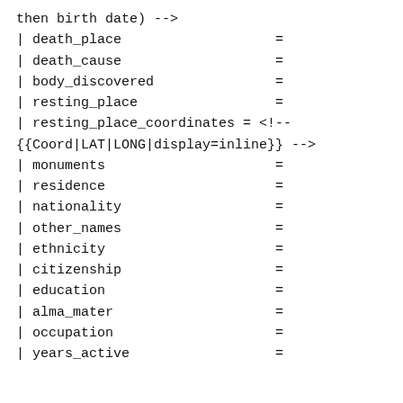then birth date) -->
| death_place                   =
| death_cause                   =
| body_discovered               =
| resting_place                 =
| resting_place_coordinates = <!--
{{Coord|LAT|LONG|display=inline}} -->
| monuments                     =
| residence                     =
| nationality                   =
| other_names                   =
| ethnicity                     =
| citizenship                   =
| education                     =
| alma_mater                    =
| occupation                    =
| years_active                  =